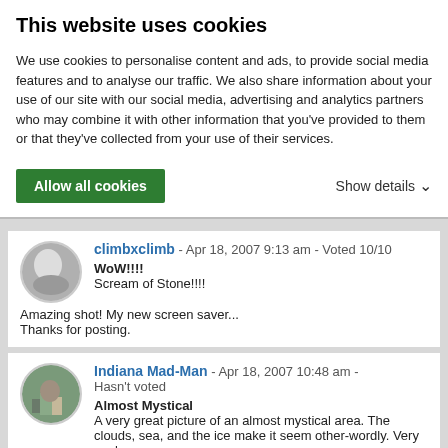This website uses cookies
We use cookies to personalise content and ads, to provide social media features and to analyse our traffic. We also share information about your use of our site with our social media, advertising and analytics partners who may combine it with other information that you've provided to them or that they've collected from your use of their services.
Allow all cookies
Show details
climbxclimb - Apr 18, 2007 9:13 am - Voted 10/10
WoW!!!!
Scream of Stone!!!!
Amazing shot! My new screen saver...
Thanks for posting.
Indiana Mad-Man - Apr 18, 2007 10:48 am - Hasn't voted
Almost Mystical
A very great picture of an almost mystical area. The clouds, sea, and the ice make it seem other-wordly. Very cool.